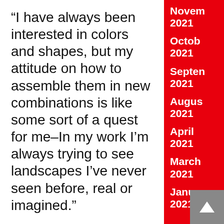“I have always been interested in colors and shapes, but my attitude on how to assemble them in new combinations is like some sort of a quest for me–In my work I’m always trying to see landscapes I’ve never seen before, real or imagined.”
I have been working on this current body of work for about six months, during the COVID-19 pandemic. I adapted my studio to work from home just before the lockdown
November 2021
October 2021
September 2021
August 2021
April 2021
March 2021
January 2021